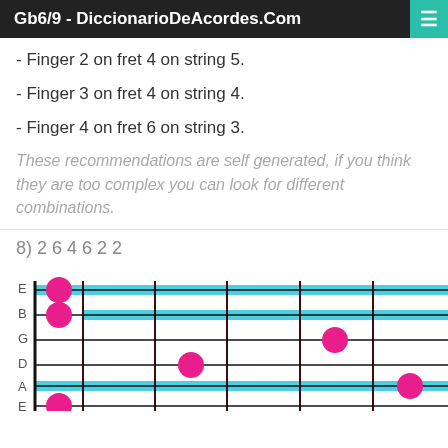Gb6/9 - DiccionarioDeAcordes.Com
- Finger 2 on fret 4 on string 5.
- Finger 3 on fret 4 on string 4.
- Finger 4 on fret 6 on string 3.
These recommendations are self generated, if you think they are too complex you can look for different combinations.
8) 2 6 4 6 2 2
[Figure (other): Guitar chord diagram for Gb6/9 showing fretboard with strings labeled E B G D A E and fret markers with pink dots indicating finger positions on frets 2-6, with cyan highlighted strings]